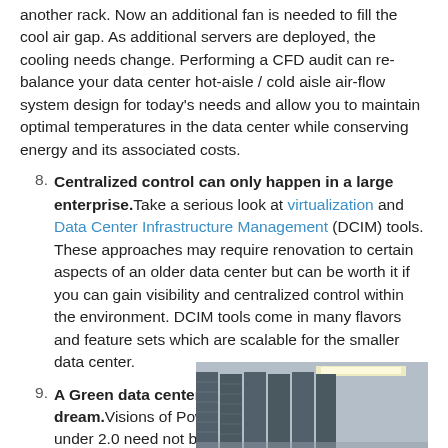another rack. Now an additional fan is needed to fill the cool air gap. As additional servers are deployed, the cooling needs change. Performing a CFD audit can re-balance your data center hot-aisle / cold aisle air-flow system design for today's needs and allow you to maintain optimal temperatures in the data center while conserving energy and its associated costs.
8. Centralized control can only happen in a large enterprise. Take a serious look at virtualization and Data Center Infrastructure Management (DCIM) tools. These approaches may require renovation to certain aspects of an older data center but can be worth it if you can gain visibility and centralized control within the environment. DCIM tools come in many flavors and feature sets which are scalable for the smaller data center.
9. A Green data center design is only a pipe dream. Visions of Power Usage Efficiency (PUE) under 2.0 need not be impossible. Considering green data
[Figure (photo): Photo of data center server racks viewed from an aisle, with ceiling lights visible at top right.]